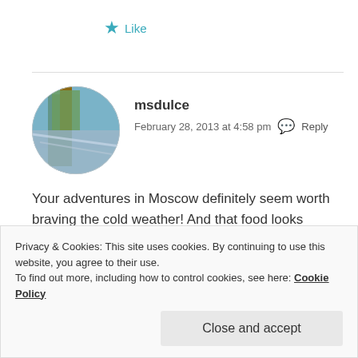[Figure (other): Blue star icon followed by Like text link]
[Figure (photo): Circular avatar photo of user msdulce showing a tree and hammock scene]
msdulce
February 28, 2013 at 4:58 pm  Reply
Your adventures in Moscow definitely seem worth braving the cold weather! And that food looks scrumptious... I never imagined Russian food to be particularly tasty, but clearly I just need to go to the source. 😉
Privacy & Cookies: This site uses cookies. By continuing to use this website, you agree to their use.
To find out more, including how to control cookies, see here: Cookie Policy
Close and accept